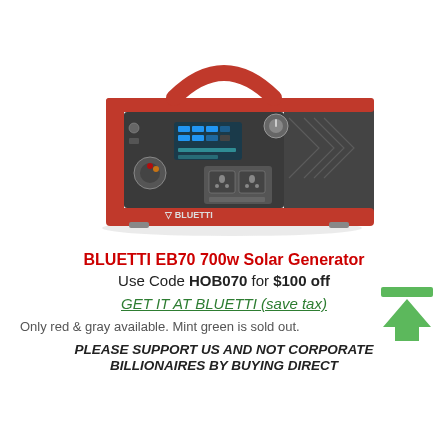[Figure (photo): BLUETTI EB70 700w Solar Generator product photo — red and gray portable power station with handle, LCD display, multiple outlets, and BLUETTI branding on front.]
BLUETTI EB70 700w Solar Generator
Use Code HOB070 for $100 off
GET IT AT BLUETTI (save tax)
Only red & gray available. Mint green is sold out.
PLEASE SUPPORT US AND NOT CORPORATE BILLIONAIRES BY BUYING DIRECT